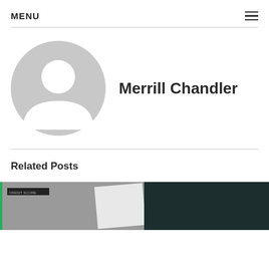MENU
[Figure (illustration): Generic user avatar placeholder — gray circle with white silhouette of a person (head and shoulders)]
Merrill Chandler
Related Posts
[Figure (photo): Partially visible photo below 'Related Posts' section showing a dark background with some lighter elements, partially cropped at the bottom of the page]